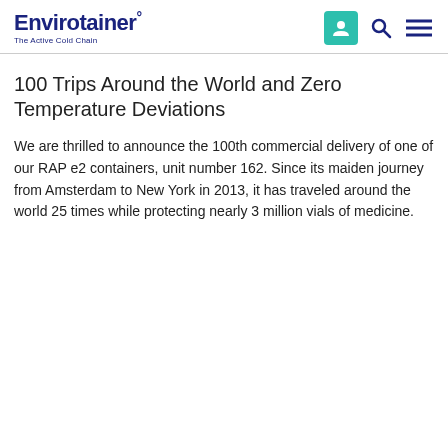Envirotainer° The Active Cold Chain
100 Trips Around the World and Zero Temperature Deviations
We are thrilled to announce the 100th commercial delivery of one of our RAP e2 containers, unit number 162. Since its maiden journey from Amsterdam to New York in 2013, it has traveled around the world 25 times while protecting nearly 3 million vials of medicine.